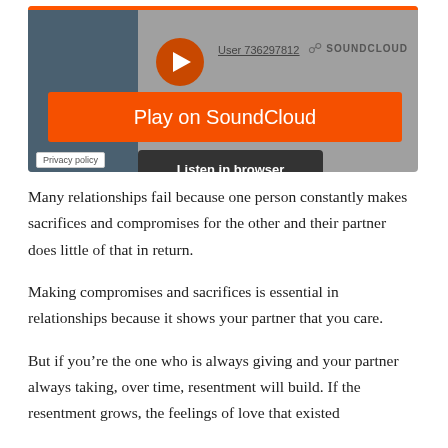[Figure (screenshot): SoundCloud embedded player widget showing a play button, 'Play on SoundCloud' orange button, 'Listen in browser' dark button, user link 'User 736297812', SoundCloud logo, and Privacy policy link.]
Many relationships fail because one person constantly makes sacrifices and compromises for the other and their partner does little of that in return.
Making compromises and sacrifices is essential in relationships because it shows your partner that you care.
But if you’re the one who is always giving and your partner always taking, over time, resentment will build. If the resentment grows, the feelings of love that existed